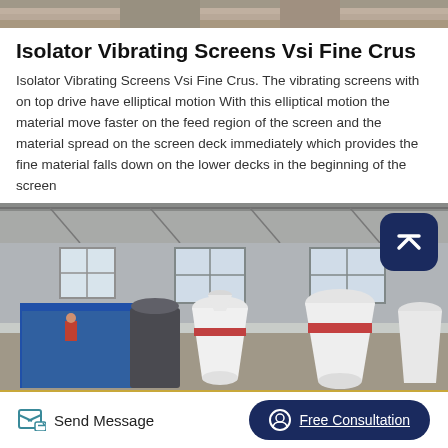[Figure (photo): Top partial image of industrial machinery or equipment, cropped at top of page]
Isolator Vibrating Screens Vsi Fine Crus
Isolator Vibrating Screens Vsi Fine Crus. The vibrating screens with on top drive have elliptical motion With this elliptical motion the material move faster on the feed region of the screen and the material spread on the screen deck immediately which provides the fine material falls down on the lower decks in the beginning of the screen
[Figure (photo): Interior of an industrial factory showing large white cone-shaped crushing/grinding machines, blue scaffolding on the left, and tall windows in the background]
Send Message
Free Consultation